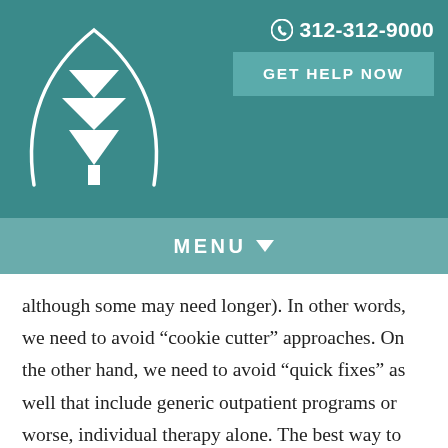[Figure (logo): White pine tree / arch logo on teal background]
312-312-9000   GET HELP NOW
MENU
although some may need longer). In other words, we need to avoid “cookie cutter” approaches. On the other hand, we need to avoid “quick fixes” as well that include generic outpatient programs or worse, individual therapy alone. The best way to determine treatment needs is to do a comprehensive assessment that is multidisciplinary with appropriate collaterals. This is another change in that this is now the typical Physician Health Program point of contact referral as opposed to direct referral into treatment. Finally, more physicians than ever are employed by hospitals. This often puts physicians in need under hospital legal and H.R. This can edge out PHP’s which is overall detrimental to people getting